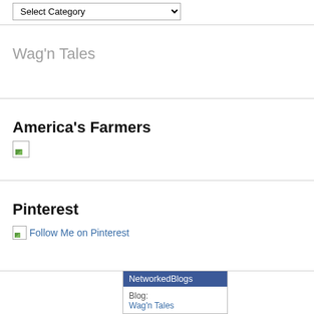[Figure (screenshot): Select Category dropdown input at top of page]
Wag'n Tales
America's Farmers
[Figure (photo): Small broken/partially loaded image thumbnail]
Pinterest
[Figure (screenshot): Follow Me on Pinterest link with broken image icon]
[Figure (screenshot): NetworkedBlogs widget showing Blog: Wag'n Tales]